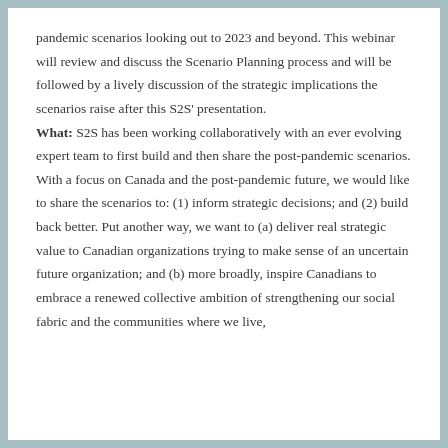pandemic scenarios looking out to 2023 and beyond. This webinar will review and discuss the Scenario Planning process and will be followed by a lively discussion of the strategic implications the scenarios raise after this S2S' presentation.
What: S2S has been working collaboratively with an ever evolving expert team to first build and then share the post-pandemic scenarios. With a focus on Canada and the post-pandemic future, we would like to share the scenarios to: (1) inform strategic decisions; and (2) build back better. Put another way, we want to (a) deliver real strategic value to Canadian organizations trying to make sense of an uncertain future organization; and (b) more broadly, inspire Canadians to embrace a renewed collective ambition of strengthening our social fabric and the communities where we live,